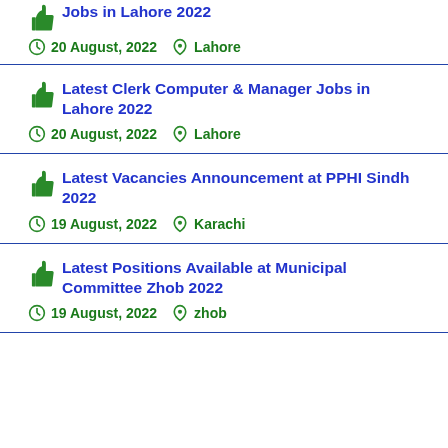Jobs in Lahore 2022 — 20 August, 2022 — Lahore
Latest Clerk Computer & Manager Jobs in Lahore 2022 — 20 August, 2022 — Lahore
Latest Vacancies Announcement at PPHI Sindh 2022 — 19 August, 2022 — Karachi
Latest Positions Available at Municipal Committee Zhob 2022 — 19 August, 2022 — zhob